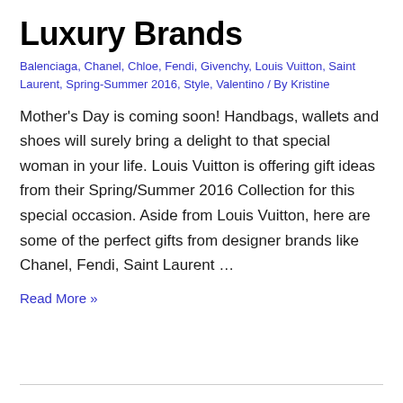Luxury Brands
Balenciaga, Chanel, Chloe, Fendi, Givenchy, Louis Vuitton, Saint Laurent, Spring-Summer 2016, Style, Valentino / By Kristine
Mother's Day is coming soon! Handbags, wallets and shoes will surely bring a delight to that special woman in your life. Louis Vuitton is offering gift ideas from their Spring/Summer 2016 Collection for this special occasion. Aside from Louis Vuitton, here are some of the perfect gifts from designer brands like Chanel, Fendi, Saint Laurent ...
Read More »